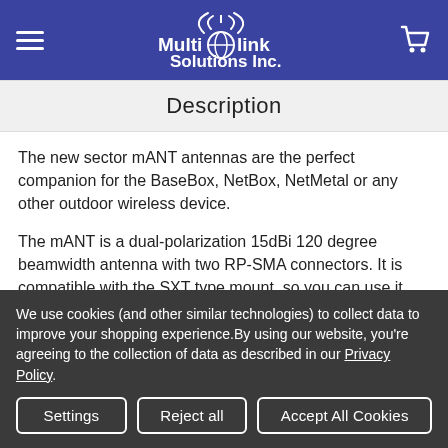Multi-link Solutions Inc.
Description
The new sector mANT antennas are the perfect companion for the BaseBox, NetBox, NetMetal or any other outdoor wireless device.
The mANT is a dual-polarization 15dBi 120 degree beamwidth antenna with two RP-SMA connectors. It is compatible with the SXT type mount, so you can use it with our durable and adjustable QuickMount systems. It comes
We use cookies (and other similar technologies) to collect data to improve your shopping experience.By using our website, you're agreeing to the collection of data as described in our Privacy Policy.